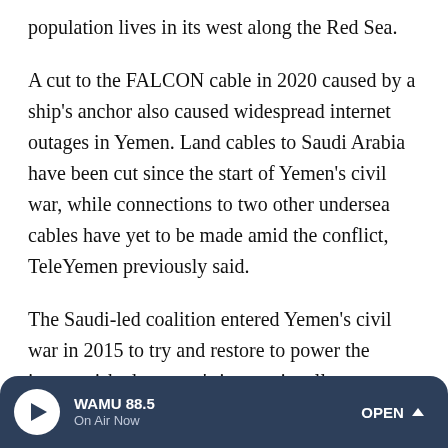population lives in its west along the Red Sea.
A cut to the FALCON cable in 2020 caused by a ship's anchor also caused widespread internet outages in Yemen. Land cables to Saudi Arabia have been cut since the start of Yemen's civil war, while connections to two other undersea cables have yet to be made amid the conflict, TeleYemen previously said.
The Saudi-led coalition entered Yemen's civil war in 2015 to try and restore to power the impoverished country's internationally recognized government, ousted by the Houthis the year before. The war has turned into the world's worst humanitarian crisis, with international criticism of
WAMU 88.5 On Air Now OPEN